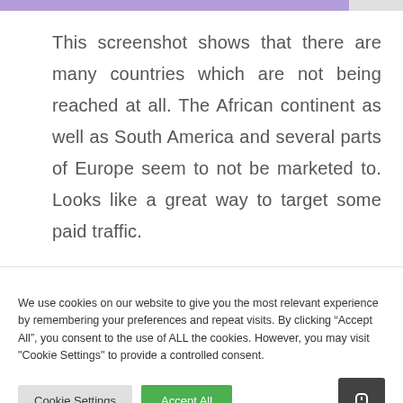This screenshot shows that there are many countries which are not being reached at all. The African continent as well as South America and several parts of Europe seem to not be marketed to. Looks like a great way to target some paid traffic.
We use cookies on our website to give you the most relevant experience by remembering your preferences and repeat visits. By clicking “Accept All”, you consent to the use of ALL the cookies. However, you may visit "Cookie Settings" to provide a controlled consent.